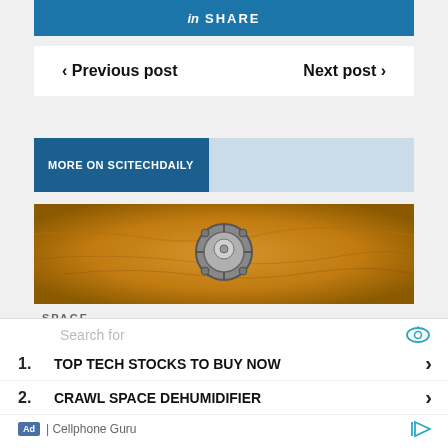[Figure (screenshot): LinkedIn Share button bar with 'in SHARE' text on blue background]
< Previous post    Next post >
MORE ON SCITECHDAILY
[Figure (photo): Aerial or satellite view of a Mars lander on a golden/sandy Martian surface]
SPACE
[Figure (screenshot): Advertisement overlay: Search for... 1. TOP TECH STOCKS TO BUY NOW 2. CRAWL SPACE DEHUMIDIFIER | Cellphone Guru ad]